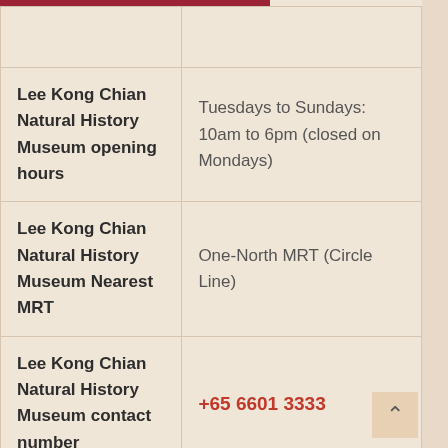| Category | Details |
| --- | --- |
| Lee Kong Chian Natural History Museum opening hours | Tuesdays to Sundays: 10am to 6pm (closed on Mondays) |
| Lee Kong Chian Natural History Museum Nearest MRT | One-North MRT (Circle Line) |
| Lee Kong Chian Natural History Museum contact number | +65 6601 3333 |